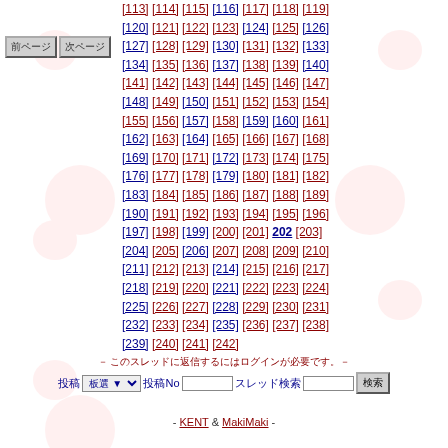[Figure (illustration): Decorative watermark background with anime-style cat and ghost character repeated in a tile pattern]
Navigation buttons (Japanese text)
[113] [114] [115] [116] [117] [118] [119] [120] [121] [122] [123] [124] [125] [126] [127] [128] [129] [130] [131] [132] [133] [134] [135] [136] [137] [138] [139] [140] [141] [142] [143] [144] [145] [146] [147] [148] [149] [150] [151] [152] [153] [154] [155] [156] [157] [158] [159] [160] [161] [162] [163] [164] [165] [166] [167] [168] [169] [170] [171] [172] [173] [174] [175] [176] [177] [178] [179] [180] [181] [182] [183] [184] [185] [186] [187] [188] [189] [190] [191] [192] [193] [194] [195] [196] [197] [198] [199] [200] [201] [202] [203] [204] [205] [206] [207] [208] [209] [210] [211] [212] [213] [214] [215] [216] [217] [218] [219] [220] [221] [222] [223] [224] [225] [226] [227] [228] [229] [230] [231] [232] [233] [234] [235] [236] [237] [238] [239] [240] [241] [242]
- (Japanese navigation text) - 投稿 板選 投稿No スレッド検索
- KENT & MakiMaki -